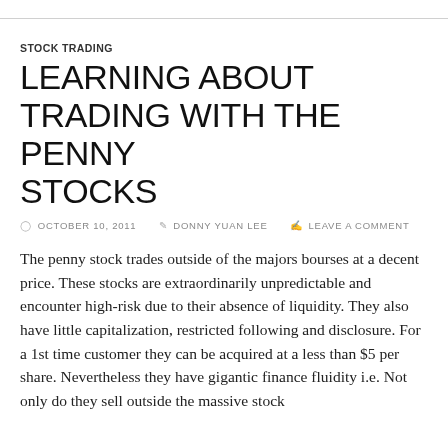STOCK TRADING
LEARNING ABOUT TRADING WITH THE PENNY STOCKS
© OCTOBER 10, 2011   ✎ DONNY YUAN LEE   ✉ LEAVE A COMMENT
The penny stock trades outside of the majors bourses at a decent price. These stocks are extraordinarily unpredictable and encounter high-risk due to their absence of liquidity. They also have little capitalization, restricted following and disclosure. For a 1st time customer they can be acquired at a less than $5 per share. Nevertheless they have gigantic finance fluidity i.e. Not only do they sell outside the massive stock